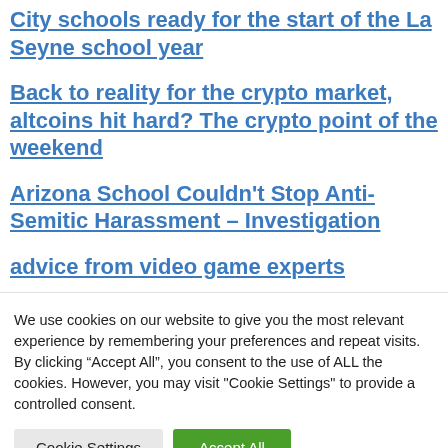City schools ready for the start of the La Seyne school year
Back to reality for the crypto market, altcoins hit hard? The crypto point of the weekend
Arizona School Couldn't Stop Anti-Semitic Harassment – Investigation
advice from video game experts
City of Mount Royal | Not yet built, a new
We use cookies on our website to give you the most relevant experience by remembering your preferences and repeat visits. By clicking "Accept All", you consent to the use of ALL the cookies. However, you may visit "Cookie Settings" to provide a controlled consent.